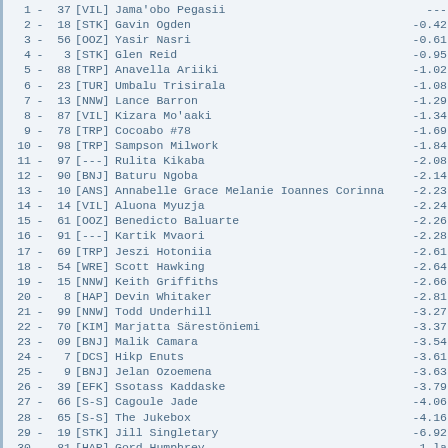| Rank | - | Num | Team | Name | Score |
| --- | --- | --- | --- | --- | --- |
| 1 | - | 37 | [VIL] | Jama'obo Pegasii | --- |
| 2 | - | 18 | [STK] | Gavin Ogden | -0.42 |
| 3 | - | 56 | [OOZ] | Yasir Nasri | -0.61 |
| 4 | - | 3 | [STK] | Glen Reid | -0.95 |
| 5 | - | 88 | [TRP] | Anavella Ariiki | -1.02 |
| 6 | - | 23 | [TUR] | Umbalu Trisirala | -1.08 |
| 7 | - | 13 | [NNW] | Lance Barron | -1.29 |
| 8 | - | 87 | [VIL] | Kizara Mo'aaki | -1.34 |
| 9 | - | 78 | [TRP] | Cocoabo #78 | -1.69 |
| 10 | - | 98 | [TRP] | Sampson Milwork | -1.84 |
| 11 | - | 97 | [---] | Rulita Kikaba | -2.08 |
| 12 | - | 90 | [BNJ] | Baturu Ngoba | -2.14 |
| 13 | - | 10 | [ANS] | Annabelle Grace Melanie Ioannes Corinna | -2.23 |
| 14 | - | 14 | [VIL] | Aluona Myuzja | -2.24 |
| 15 | - | 61 | [OOZ] | Benedicto Baluarte | -2.26 |
| 16 | - | 91 | [---] | Kartik Mvaori | -2.28 |
| 17 | - | 69 | [TRP] | Jeszi Hotoniia | -2.61 |
| 18 | - | 54 | [WRE] | Scott Hawking | -2.64 |
| 19 | - | 15 | [NNW] | Keith Griffiths | -2.66 |
| 20 | - | 8 | [HAP] | Devin Whitaker | -2.81 |
| 21 | - | 99 | [NNW] | Todd Underhill | -3.27 |
| 22 | - | 70 | [KIM] | Marjatta Särestöniemi | -3.37 |
| 23 | - | 09 | [BNJ] | Malik Camara | -3.54 |
| 24 | - | 7 | [DCS] | Hikp Enuts | -3.61 |
| 25 | - | 9 | [BNJ] | Jelan Ozoemena | -3.63 |
| 26 | - | 39 | [EFK] | Ssotass Kaddaske | -3.79 |
| 27 | - | 66 | [S-S] | Cagoule Jade | -4.06 |
| 28 | - | 65 | [S-S] | The Jukebox | -4.16 |
| 29 | - | 19 | [STK] | Jill Singletary | -6.92 |
| 30 | - | 81 | [HAP] | Gord Humphrey | -1 la |
| 31 | - | 49 | [EFK] | Suma Kahakne | -11 l |
| 32 | - | 07 | [KIM] | Tapio Pellonpää | DNF |
| 33 | - | 08 | [HAP] | Colin Sherburn | DNF |
| 34 | - | 64 | [S-S] | The Pyro Lord | DNF |
| 35 | - | 77 | [TUR] | Juracai Klianiota | DNF |
| 36 | - | 1 | [OOZ] | Hossem Nasri | DNF |